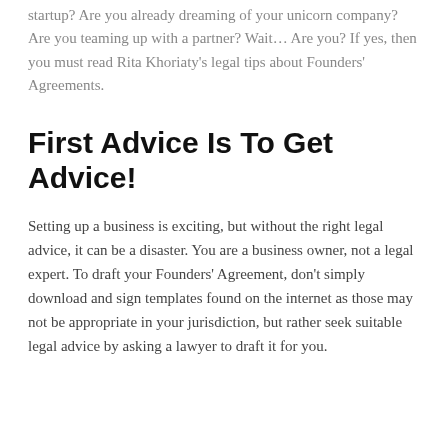startup? Are you already dreaming of your unicorn company? Are you teaming up with a partner? Wait… Are you? If yes, then you must read Rita Khoriaty's legal tips about Founders' Agreements.
First Advice Is To Get Advice!
Setting up a business is exciting, but without the right legal advice, it can be a disaster. You are a business owner, not a legal expert. To draft your Founders' Agreement, don't simply download and sign templates found on the internet as those may not be appropriate in your jurisdiction, but rather seek suitable legal advice by asking a lawyer to draft it for you.